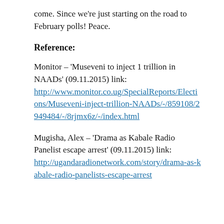come. Since we're just starting on the road to February polls! Peace.
Reference:
Monitor – 'Museveni to inject 1 trillion in NAADs' (09.11.2015) link: http://www.monitor.co.ug/SpecialReports/Elections/Museveni-inject-trillion-NAADs/-/859108/2949484/-/8rjmx6z/-/index.html
Mugisha, Alex – 'Drama as Kabale Radio Panelist escape arrest' (09.11.2015) link: http://ugandaradionetwork.com/story/drama-as-kabale-radio-panelists-escape-arrest